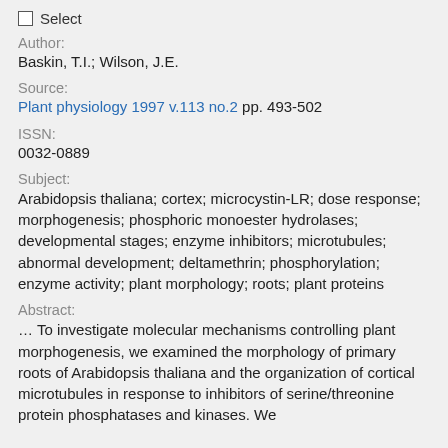☐ Select
Author:
Baskin, T.I.; Wilson, J.E.
Source:
Plant physiology 1997 v.113 no.2 pp. 493-502
ISSN:
0032-0889
Subject:
Arabidopsis thaliana; cortex; microcystin-LR; dose response; morphogenesis; phosphoric monoester hydrolases; developmental stages; enzyme inhibitors; microtubules; abnormal development; deltamethrin; phosphorylation; enzyme activity; plant morphology; roots; plant proteins
Abstract:
… To investigate molecular mechanisms controlling plant morphogenesis, we examined the morphology of primary roots of Arabidopsis thaliana and the organization of cortical microtubules in response to inhibitors of serine/threonine protein phosphatases and kinases. We